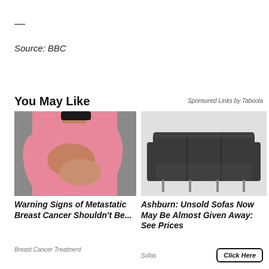—
Source: BBC
You May Like
Sponsored Links by Taboola
[Figure (photo): Person in pink long-sleeve shirt holding their chest/breast area with both hands, against a gray background.]
[Figure (photo): Dark gray/charcoal leather three-seat sofa with metal legs on a white background.]
Warning Signs of Metastatic Breast Cancer Shouldn't Be...
Ashburn: Unsold Sofas Now May Be Almost Given Away: See Prices
Breast Cancer Treatment
Sofas
Click Here